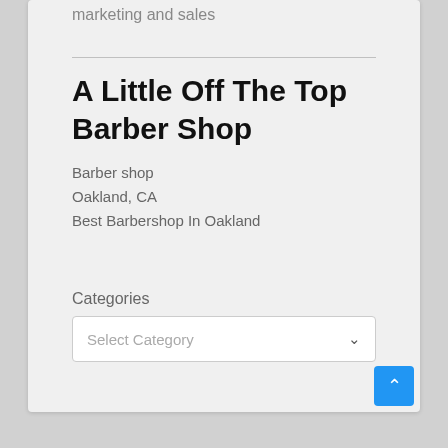marketing and sales
A Little Off The Top Barber Shop
Barber shop
Oakland, CA
Best Barbershop In Oakland
Categories
Select Category